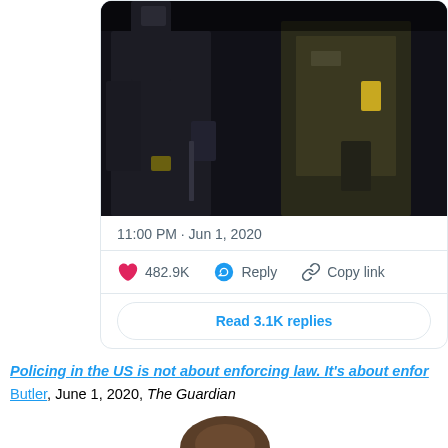[Figure (photo): Photo showing police officers in dark tactical gear/uniforms, dark background, screenshot from a tweet]
11:00 PM · Jun 1, 2020
482.9K  Reply  Copy link
Read 3.1K replies
Policing in the US is not about enforcing law. It's about enfor... Butler, June 1, 2020, The Guardian
[Figure (photo): Portrait photo of a person, partially visible at bottom of page, showing top of head]